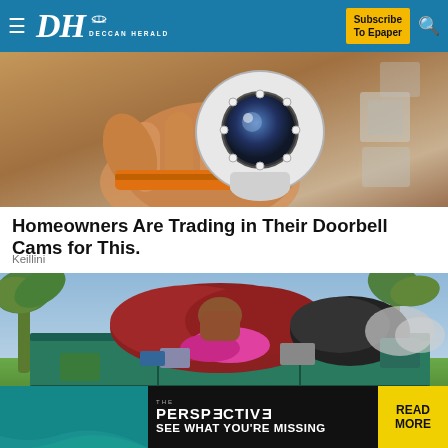DH Deccan Herald — Subscribe To Epaper
[Figure (photo): A hand holding a small white WiFi security camera with circular lens and LED lights, against a brown/orange background with boxes]
Homeowners Are Trading in Their Doorbell Cams for This.
Keillini
[Figure (photo): An overflowing dumpster/skip filled with clothes, trash bags, and various items, with palm trees and greenery in the background]
[Figure (infographic): The Perspective advertisement banner: 'THE PERSPECTIVE - SEE WHAT YOU'RE MISSING' with READ MORE button on teal/black background]